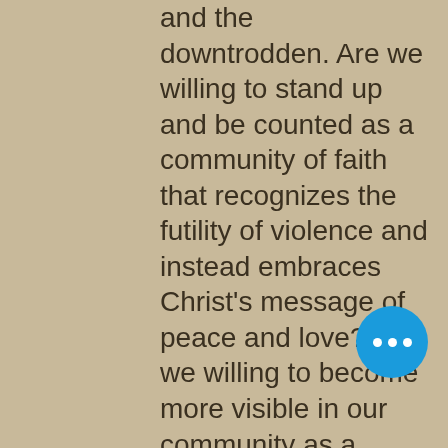and the downtrodden.  Are we willing to stand up and be counted as a community of faith that recognizes the futility of violence and instead embraces Christ's message of peace and love?  Are we willing to become more visible in our community as a church that welcomes everybody, Spanish speakers as well as English speakers? We pride ourselves in welcoming the gay community, but what if someone is openly trans or bi?  Will we welcome them just as warmly?  I believe the answer is yes.  Lest we forget, wherever we draw a line to exclude someone, we can be sure that Jesus is standing on the opposite side.  Eugene Peterson writes, "We can't live a life more like"
[Figure (other): Blue circular button with three white dots (more/ellipsis button) in the bottom-right area of the page]